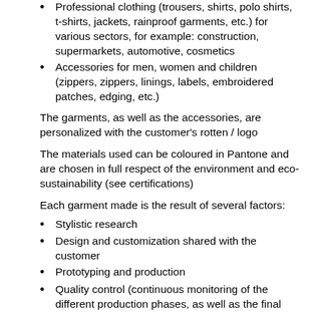Professional clothing (trousers, shirts, polo shirts, t-shirts, jackets, rainproof garments, etc.) for various sectors, for example: construction, supermarkets, automotive, cosmetics
Accessories for men, women and children (zippers, zippers, linings, labels, embroidered patches, edging, etc.)
The garments, as well as the accessories, are personalized with the customer's rotten / logo
The materials used can be coloured in Pantone and are chosen in full respect of the environment and eco-sustainability (see certifications)
Each garment made is the result of several factors:
Stylistic research
Design and customization shared with the customer
Prototyping and production
Quality control (continuous monitoring of the different production phases, as well as the final verification so that the garment does not contains defective elements)